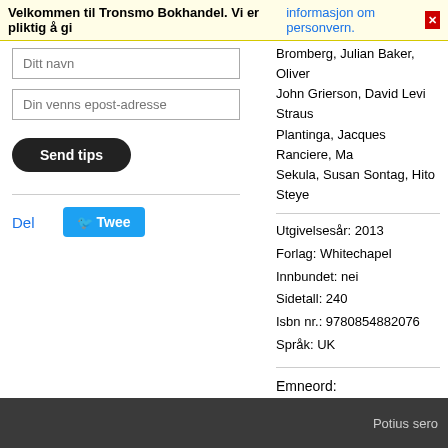Velkommen til Tronsmo Bokhandel. Vi er pliktig å gi informasjon om personvern.
Bromberg, Julian Baker, Oliver
John Grierson, David Levi Straus
Plantinga, Jacques Ranciere, Ma
Sekula, Susan Sontag, Hito Steye
Utgivelsesår: 2013
Forlag: Whitechapel
Innbundet: nei
Sidetall: 240
Isbn nr.: 9780854882076
Språk: UK
Emneord:
Kunst og design
Del
Tweet
Potius sero